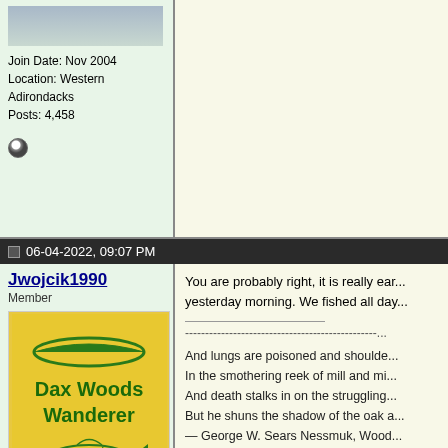Join Date: Nov 2004
Location: Western Adirondacks
Posts: 4,458
06-04-2022, 09:07 PM
Jwojcik1990
Member
Join Date: Sep 2020
Location: Whitesboro
Posts: 87
[Figure (illustration): Yellow square avatar with green canoe on top, text 'Dax Woods Wanderer' in green, and a green fish illustration below]
You are probably right, it is really ear... yesterday morning. We fished all day...
And lungs are poisoned and shoulde...
In the smothering reek of mill and mi...
And death stalks in on the struggling...
But he shuns the shadow of the oak a...
— George W. Sears Nessmuk, Wood...
06-05-2022, 07:16 AM